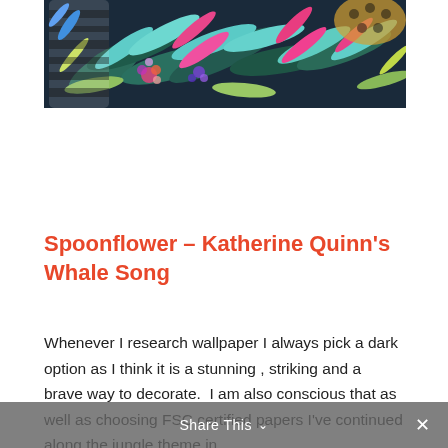[Figure (illustration): Colorful tropical jungle illustration with pink, teal, green leaves, zebra stripes, leopard print pattern, and floral elements on a dark navy background]
Spoonflower – Katherine Quinn's Whale Song
Whenever I research wallpaper I always pick a dark option as I think it is a stunning , striking and a brave way to decorate.  I am also conscious that as well as choosing FSC certified papers I've continued along the jungle theme in
Share This ∨  ×